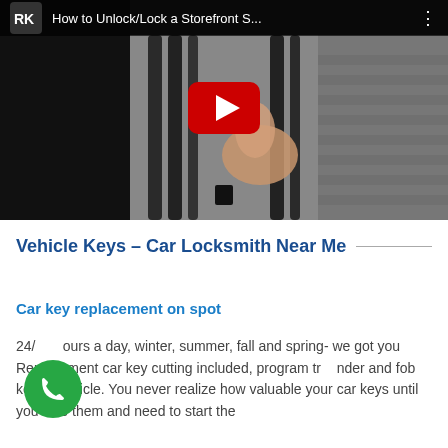[Figure (screenshot): YouTube video thumbnail showing 'How to Unlock/Lock a Storefront S...' with a YouTube play button overlay, showing a hand holding metal door bars]
Vehicle Keys – Car Locksmith Near Me
Car key replacement on spot
24/hours a day, winter, summer, fall and spring- we got you Replacement car key cutting included, program tr nder and fob key to vehicle. You never realize how valuable your car keys until you lose them and need to start the